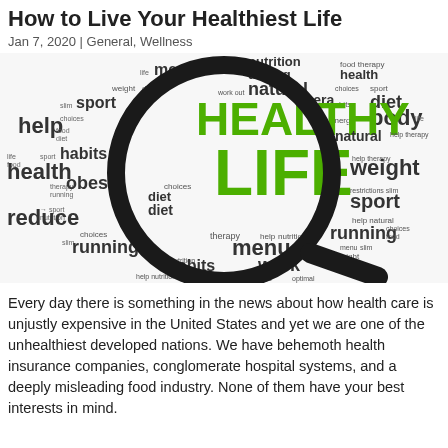How to Live Your Healthiest Life
Jan 7, 2020 | General, Wellness
[Figure (illustration): Word cloud with magnifying glass focused on 'HEALTHY LIFE' in green, surrounded by health-related words like nutrition, diet, sport, habits, running, menu, help, therapy, body, weight, reduce, obese, choices, natural, etc.]
Every day there is something in the news about how health care is unjustly expensive in the United States and yet we are one of the unhealthiest developed nations. We have behemoth health insurance companies, conglomerate hospital systems, and a deeply misleading food industry. None of them have your best interests in mind.